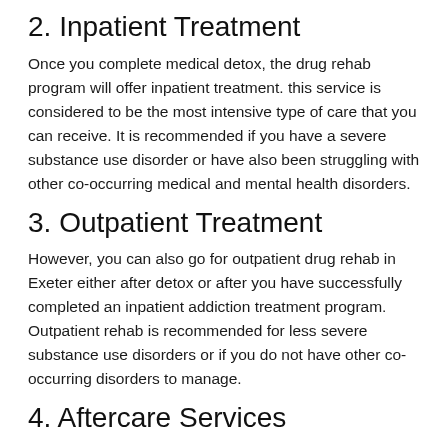2. Inpatient Treatment
Once you complete medical detox, the drug rehab program will offer inpatient treatment. this service is considered to be the most intensive type of care that you can receive. It is recommended if you have a severe substance use disorder or have also been struggling with other co-occurring medical and mental health disorders.
3. Outpatient Treatment
However, you can also go for outpatient drug rehab in Exeter either after detox or after you have successfully completed an inpatient addiction treatment program. Outpatient rehab is recommended for less severe substance use disorders or if you do not have other co-occurring disorders to manage.
4. Aftercare Services
Even after you have been through formal addiction